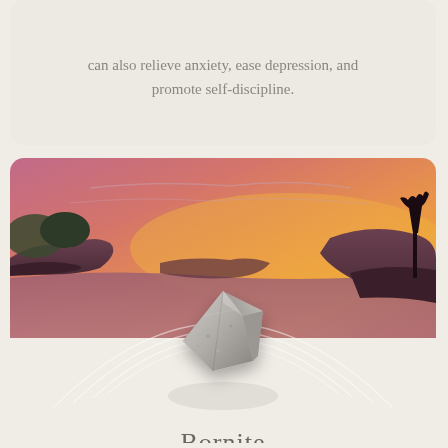can also relieve anxiety, ease depression, and promote self-discipline.
[Figure (photo): Composite image: sunset landscape with orange-red sky, rocks, water, and silhouetted tree, with a gray raw mineral crystal (Bornite) overlaid in the center foreground, and concentric arc ripples radiating outward]
Bornite
The healing crystal Bornite is known for its ability to heal and energize the body, mind, and